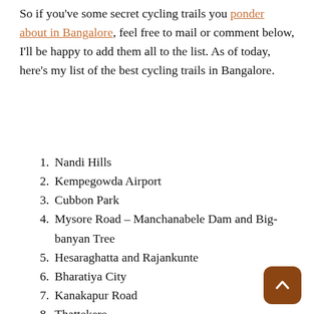So if you've some secret cycling trails you ponder about in Bangalore, feel free to mail or comment below, I'll be happy to add them all to the list. As of today, here's my list of the best cycling trails in Bangalore.
1. Nandi Hills
2. Kempegowda Airport
3. Cubbon Park
4. Mysore Road – Manchanabele Dam and Big-banyan Tree
5. Hesaraghatta and Rajankunte
6. Bharatiya City
7. Kanakapur Road
8. Thattekere
9. Sarjapur Road – Narayankere
10. Turrahalli Forest